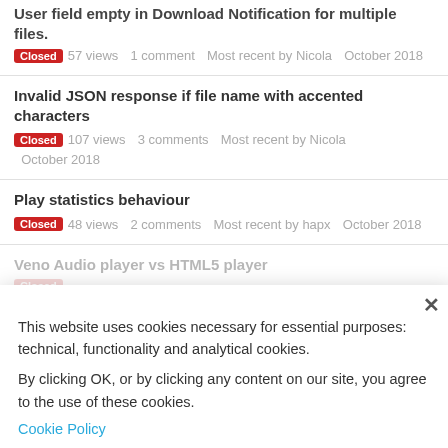User field empty in Download Notification for multiple files.
Closed  57 views  1 comment  Most recent by Nicola  October 2018
Invalid JSON response if file name with accented characters
Closed  107 views  3 comments  Most recent by Nicola  October 2018
Play statistics behaviour
Closed  48 views  2 comments  Most recent by hapx  October 2018
Veno Audio player vs HTML5 player
This website uses cookies necessary for essential purposes: technical, functionality and analytical cookies.
By clicking OK, or by clicking any content on our site, you agree to the use of these cookies.
Cookie Policy
Audio/Video player, random order (shuffle)?